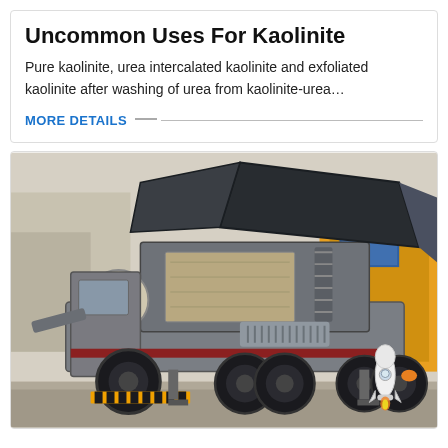Uncommon Uses For Kaolinite
Pure kaolinite, urea intercalated kaolinite and exfoliated kaolinite after washing of urea from kaolinite-urea…
MORE DETAILS
[Figure (photo): A large mobile crusher / jaw crusher machine on a wheeled trailer, painted gray, photographed outdoors. A small rocket illustration is visible in the lower right. Background shows yellow industrial equipment and blue signage.]